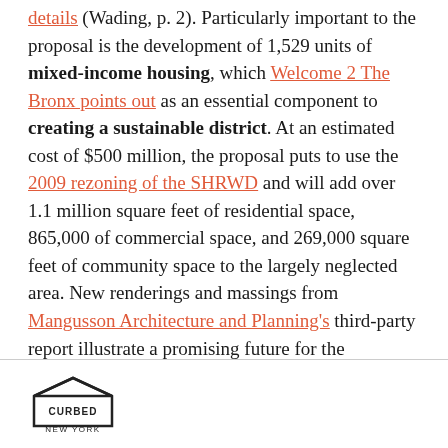... (Wading, p. 2). Particularly important to the proposal is the development of 1,529 units of mixed-income housing, which Welcome 2 The Bronx points out as an essential component to creating a sustainable district. At an estimated cost of $500 million, the proposal puts to use the 2009 rezoning of the SHRWD and will add over 1.1 million square feet of residential space, 865,000 of commercial space, and 269,000 square feet of community space to the largely neglected area. New renderings and massings from Mangusson Architecture and Planning's third-party report illustrate a promising future for the waterfront industrial lots of (perhaps, soon-to-be) yore.
CURBED NEW YORK